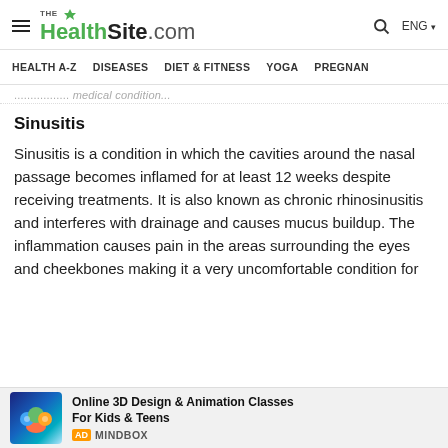THE HealthSite.com — HEALTH A-Z | DISEASES | DIET & FITNESS | YOGA | PREGNAN
...medical condition...
Sinusitis
Sinusitis is a condition in which the cavities around the nasal passage becomes inflamed for at least 12 weeks despite receiving treatments. It is also known as chronic rhinosinusitis and interferes with drainage and causes mucus buildup. The inflammation causes pain in the areas surrounding the eyes and cheekbones making it a very uncomfortable condition for
Online 3D Design & Animation Classes For Kids & Teens AD MINDBOX